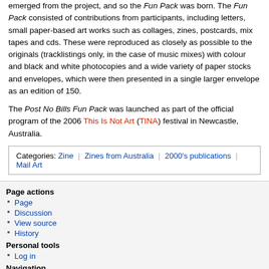emerged from the project, and so the Fun Pack was born. The Fun Pack consisted of contributions from participants, including letters, small paper-based art works such as collages, zines, postcards, mix tapes and cds. These were reproduced as closely as possible to the originals (tracklistings only, in the case of music mixes) with colour and black and white photocopies and a wide variety of paper stocks and envelopes, which were then presented in a single larger envelope as an edition of 150.
The Post No Bills Fun Pack was launched as part of the official program of the 2006 This Is Not Art (TINA) festival in Newcastle, Australia.
| Categories |
| --- |
| Zine | Zines from Australia | 2000's publications | Mail Art |
Page actions
Page
Discussion
View source
History
Personal tools
Log in
Navigation
ZineWiki
First time here?
Help
Recent changes